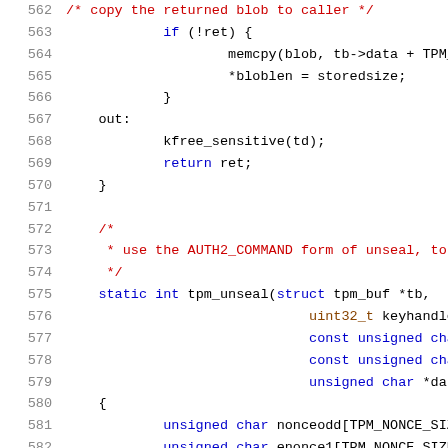[Figure (screenshot): Source code listing (C language) showing lines 562-583 of a TPM (Trusted Platform Module) unseal function implementation. Lines shown in monospace font with syntax highlighting: line numbers in grey, keywords in blue, types in teal, comments in red, identifiers in black/dark.]